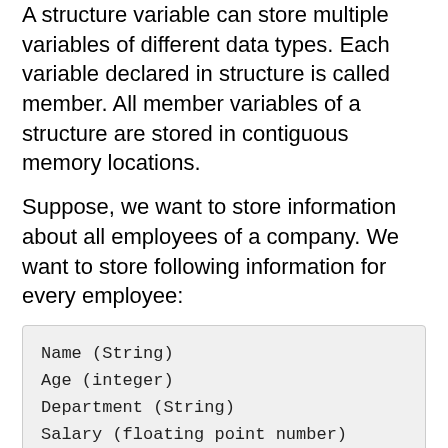A structure variable can store multiple variables of different data types. Each variable declared in structure is called member. All member variables of a structure are stored in contiguous memory locations.
Suppose, we want to store information about all employees of a company. We want to store following information for every employee:
Name (String)
Age (integer)
Department (String)
Salary (floating point number)
We can create a custom data type, which can store all related information of an employee under a single name. C++ programming language provide support for defining a custom data type(structure) which can encapsulate and store all related information about an employee.